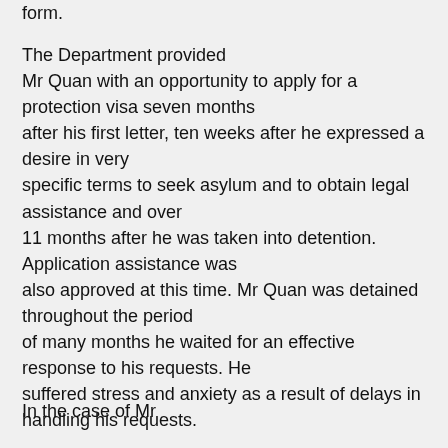form.
The Department provided Mr Quan with an opportunity to apply for a protection visa seven months after his first letter, ten weeks after he expressed a desire in very specific terms to seek asylum and to obtain legal assistance and over 11 months after he was taken into detention. Application assistance was also approved at this time. Mr Quan was detained throughout the period of many months he waited for an effective response to his requests. He suffered stress and anxiety as a result of delays in handling his requests.
In the case of Mr